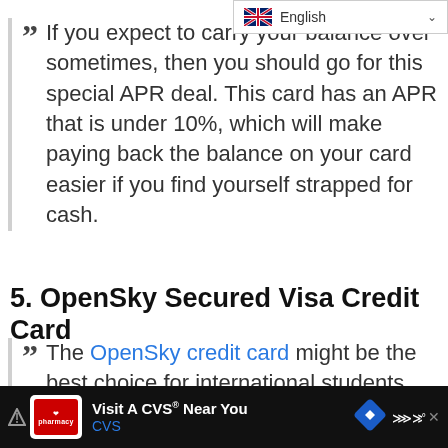If you expect to carry your balance over sometimes, then you should go for this special APR deal. This card has an APR that is under 10%, which will make paying back the balance on your card easier if you find yourself strapped for cash.
5. OpenSky Secured Visa Credit Card
The OpenSky credit card might be the best choice for international students. Besides, not requiring...